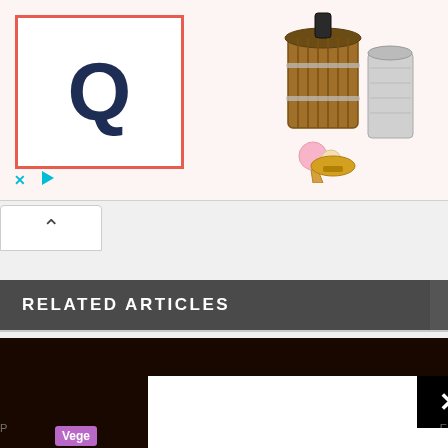[Figure (screenshot): Advertisement banner with a Q logo in a red-bordered box on the left, and an ice cream maker product image on the right. Close X and play button icons at the bottom left of the ad.]
[Figure (screenshot): Collapse/accordion chevron button (up arrow) in a white rounded box.]
RELATED ARTICLES
[Figure (screenshot): Dark brown modal overlay frame with a white inner content area and a black X close button in the top right corner. A purple 'Vege' tag and partial 'P' and 'E' text labels are visible.]